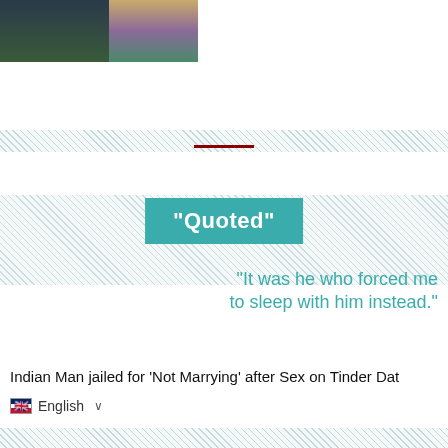[Figure (photo): Photograph of people, partially cropped at top of page]
[Figure (infographic): Hatched decorative band with dark red separator line and teal 'Quoted' box banner]
"It was he who forced me to sleep with him instead."
Indian Man jailed for 'Not Marrying' after Sex on Tinder Dat
🇬🇧 English ∨